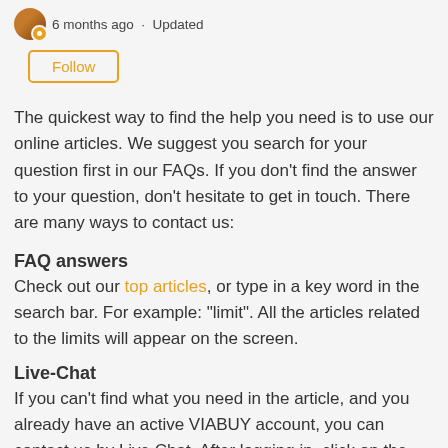6 months ago · Updated
Follow
The quickest way to find the help you need is to use our online articles. We suggest you search for your question first in our FAQs. If you don't find the answer to your question, don't hesitate to get in touch. There are many ways to contact us:
FAQ answers
Check out our top articles, or type in a key word in the search bar. For example: "limit". All the articles related to the limits will appear on the screen.
Live-Chat
If you can't find what you need in the article, and you already have an active VIABUY account, you can contact us by Live Chat. After logging in, click on the Customer Service tab. A